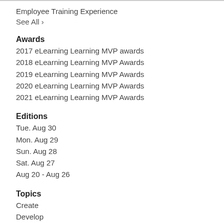Employee Training Experience
See All ›
Awards
2017 eLearning Learning MVP awards
2018 eLearning Learning MVP Awards
2019 eLearning Learning MVP Awards
2020 eLearning Learning MVP Awards
2021 eLearning Learning MVP Awards
Editions
Tue. Aug 30
Mon. Aug 29
Sun. Aug 28
Sat. Aug 27
Aug 20 - Aug 26
Topics
Create
Develop
Train
Technology